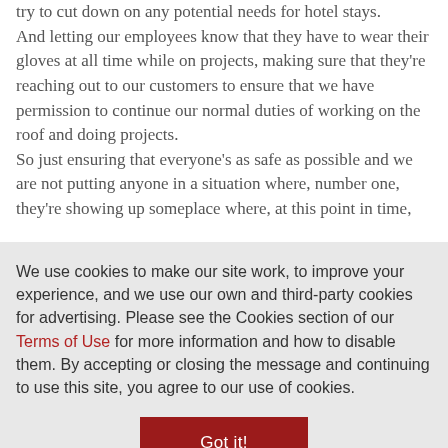try to cut down on any potential needs for hotel stays. And letting our employees know that they have to wear their gloves at all time while on projects, making sure that they're reaching out to our customers to ensure that we have permission to continue our normal duties of working on the roof and doing projects. So just ensuring that everyone's as safe as possible and we are not putting anyone in a situation where, number one, they're showing up someplace where, at this point in time,
We use cookies to make our site work, to improve your experience, and we use our own and third-party cookies for advertising. Please see the Cookies section of our Terms of Use for more information and how to disable them. By accepting or closing the message and continuing to use this site, you agree to our use of cookies.